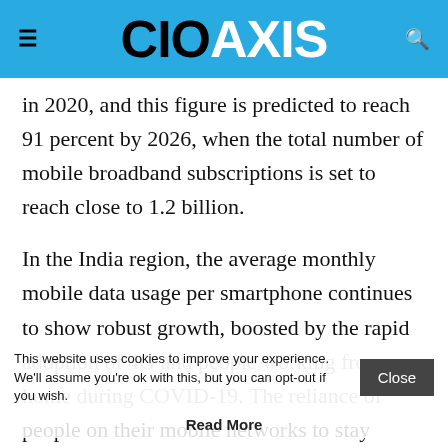CIO AXIS
in 2020, and this figure is predicted to reach 91 percent by 2026, when the total number of mobile broadband subscriptions is set to reach close to 1.2 billion.
In the India region, the average monthly mobile data usage per smartphone continues to show robust growth, boosted by the rapid adoption of 4G and people working from home during COVID-19. The reliance of people on their mobile networks to stay connected as well as work from home during COVID-19 has contributed to the
This website uses cookies to improve your experience. We'll assume you're ok with this, but you can opt-out if you wish.
Read More